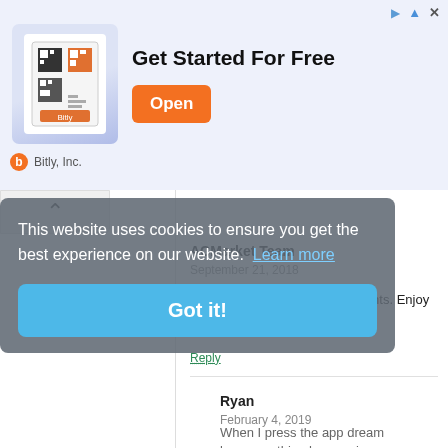[Figure (screenshot): Advertisement banner for Bitly Inc. showing a QR code app image, headline 'Get Started For Free', and an orange 'Open' button]
Bitly, Inc.
ACMarket Team
September 21, 2018
Thank you for your kind comments. Enjoy ACMarket app
Reply
Ryan
February 4, 2019
When I press the app dream league,nothing happen in app
Reply
Ayaz Warsi
September 22, 2018
This website uses cookies to ensure you get the best experience on our website.  Learn more
Got it!